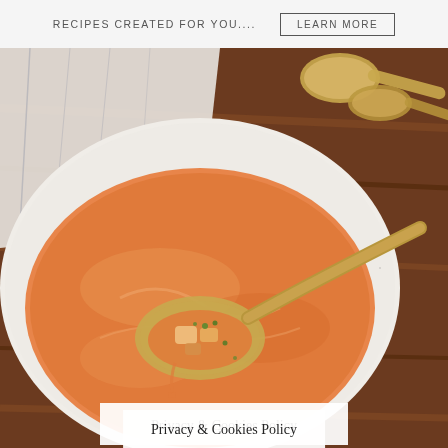RECIPES CREATED FOR YOU.... LEARN MORE
[Figure (photo): Close-up photo of a bowl of creamy orange soup (likely tomato or butternut squash) with a spoon lifting a portion showing chunks of food and fresh herbs (thyme). Gold/silver spoons rest on a wooden table in the background with a white linen napkin.]
Privacy & Cookies Policy